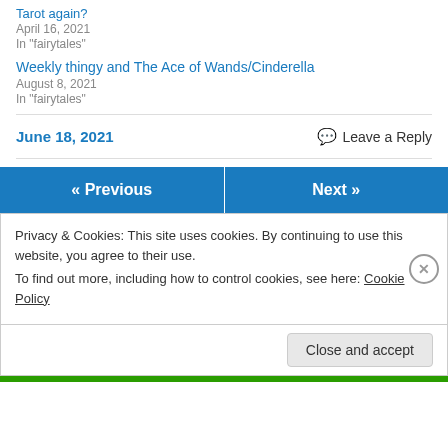Tarot again?
April 16, 2021
In "fairytales"
Weekly thingy and The Ace of Wands/Cinderella
August 8, 2021
In "fairytales"
June 18, 2021
Leave a Reply
« Previous
Next »
Privacy & Cookies: This site uses cookies. By continuing to use this website, you agree to their use.
To find out more, including how to control cookies, see here: Cookie Policy
Close and accept